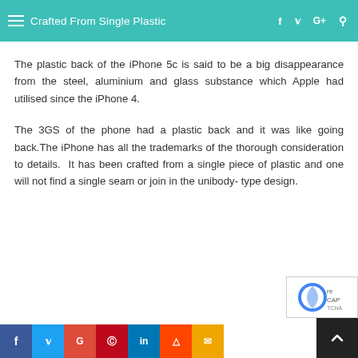Crafted From Single Plastic
The plastic back of the iPhone 5c is said to be a big disappearance from the steel, aluminium and glass substance which Apple had utilised since the iPhone 4.
The 3GS of the phone had a plastic back and it was like going back.The iPhone has all the trademarks of the thorough consideration to details.  It has been crafted from a single piece of plastic and one will not find a single seam or join in the unibody- type design.